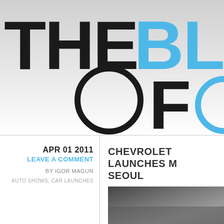[Figure (logo): Website logo/header showing 'THE BL... OF' in large black and cyan/blue letters on a light gray gradient background. A large circle forms the O in OF.]
APR 01 2011
LEAVE A COMMENT
BY IGOR MAGUN
AUTO SHOWS, CAR LAUNCHES
CHEVROLET LAUNCHES M... SEOUL
[Figure (photo): Partial photo of a car at an auto show, dark/gray tones]